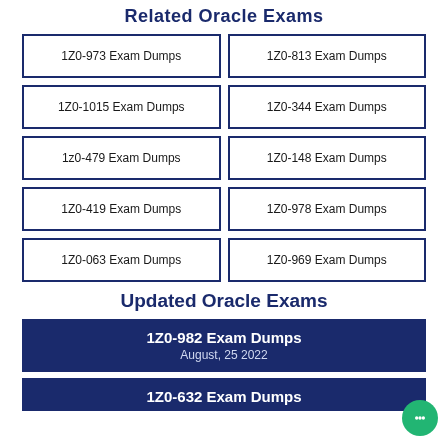Related Oracle Exams
1Z0-973 Exam Dumps
1Z0-813 Exam Dumps
1Z0-1015 Exam Dumps
1Z0-344 Exam Dumps
1z0-479 Exam Dumps
1Z0-148 Exam Dumps
1Z0-419 Exam Dumps
1Z0-978 Exam Dumps
1Z0-063 Exam Dumps
1Z0-969 Exam Dumps
Updated Oracle Exams
1Z0-982 Exam Dumps
August, 25 2022
1Z0-632 Exam Dumps